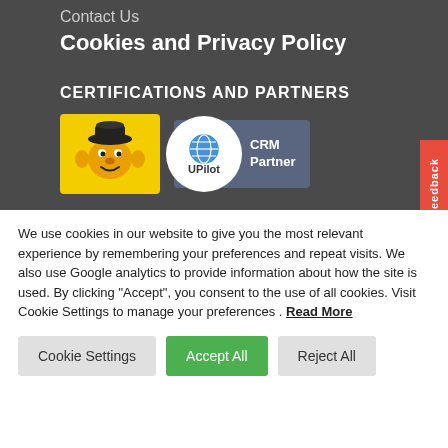Contact Us
Cookies and Privacy Policy
CERTIFICATIONS AND PARTNERS
[Figure (logo): Mailchimp monkey logo on yellow background]
[Figure (logo): UPilot CRM Partner badge with circle logo on dark background]
We use cookies in our website to give you the most relevant experience by remembering your preferences and repeat visits. We also use Google analytics to provide information about how the site is used. By clicking "Accept", you consent to the use of all cookies. Visit Cookie Settings to manage your preferences . Read More
Cookie Settings
Accept All
Reject All